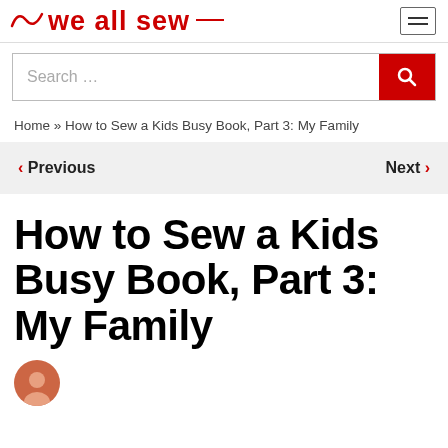we all sew
Search ...
Home » How to Sew a Kids Busy Book, Part 3: My Family
< Previous   Next >
How to Sew a Kids Busy Book, Part 3: My Family
[Figure (illustration): Author avatar circle portrait, partially visible at bottom]